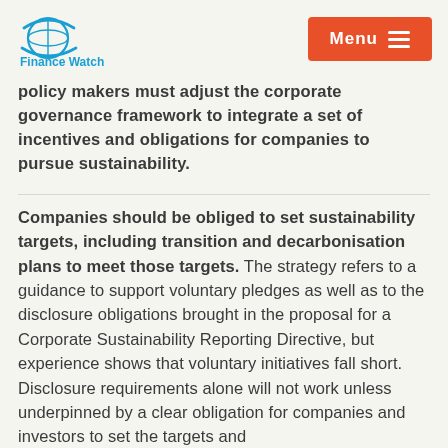Finance Watch | Menu
policy makers must adjust the corporate governance framework to integrate a set of incentives and obligations for companies to pursue sustainability.
Companies should be obliged to set sustainability targets, including transition and decarbonisation plans to meet those targets. The strategy refers to a guidance to support voluntary pledges as well as to the disclosure obligations brought in the proposal for a Corporate Sustainability Reporting Directive, but experience shows that voluntary initiatives fall short. Disclosure requirements alone will not work unless underpinned by a clear obligation for companies and investors to set the targets and